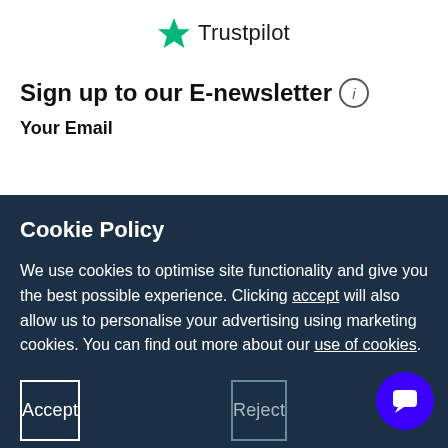[Figure (logo): Trustpilot logo with green star and text 'Trustpilot']
Sign up to our E-newsletter ℹ
Your Email
Cookie Policy
We use cookies to optimise site functionality and give you the best possible experience. Clicking accept will also allow us to personalise your advertising using marketing cookies. You can find out more about our use of cookies.
Accept
Reject